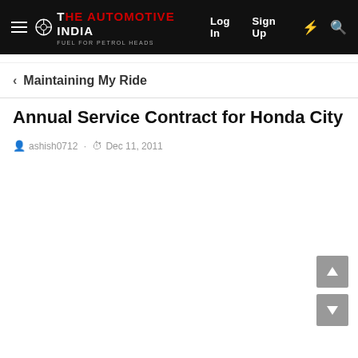The Automotive India — Log In  Sign Up
Maintaining My Ride
Annual Service Contract for Honda City
ashish0712 · Dec 11, 2011